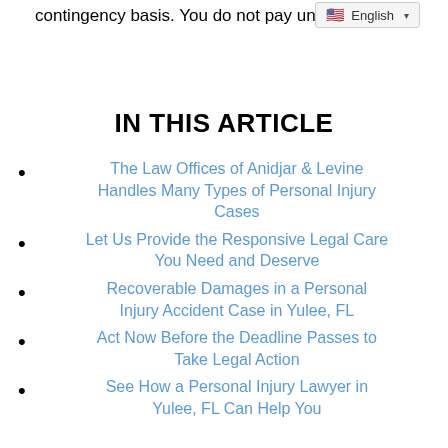contingency basis. You do not pay unless you win.
IN THIS ARTICLE
The Law Offices of Anidjar & Levine Handles Many Types of Personal Injury Cases
Let Us Provide the Responsive Legal Care You Need and Deserve
Recoverable Damages in a Personal Injury Accident Case in Yulee, FL
Act Now Before the Deadline Passes to Take Legal Action
See How a Personal Injury Lawyer in Yulee, FL Can Help You